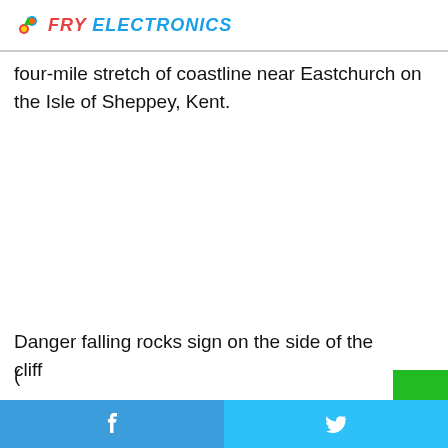FRY ELECTRONICS
four-mile stretch of coastline near Eastchurch on the Isle of Sheppey, Kent.
Danger falling rocks sign on the side of the cliff
(
Picture: